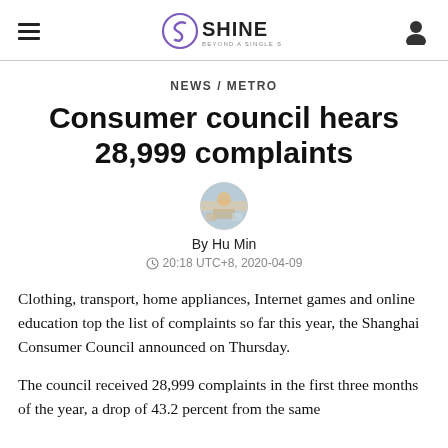SHINE — BEYOND A SINGLE STORY
NEWS / METRO
Consumer council hears 28,999 complaints
[Figure (photo): Circular author avatar photo of Hu Min]
By Hu Min
20:18 UTC+8, 2020-04-09
Clothing, transport, home appliances, Internet games and online education top the list of complaints so far this year, the Shanghai Consumer Council announced on Thursday.
The council received 28,999 complaints in the first three months of the year, a drop of 43.2 percent from the same